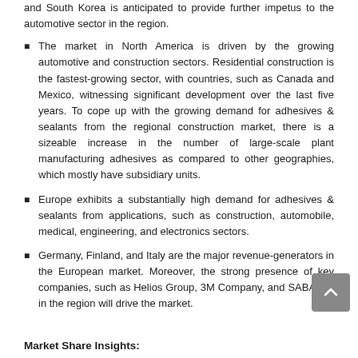and South Korea is anticipated to provide further impetus to the automotive sector in the region.
The market in North America is driven by the growing automotive and construction sectors. Residential construction is the fastest-growing sector, with countries, such as Canada and Mexico, witnessing significant development over the last five years. To cope up with the growing demand for adhesives & sealants from the regional construction market, there is a sizeable increase in the number of large-scale plant manufacturing adhesives as compared to other geographies, which mostly have subsidiary units.
Europe exhibits a substantially high demand for adhesives & sealants from applications, such as construction, automobile, medical, engineering, and electronics sectors.
Germany, Finland, and Italy are the major revenue-generators in the European market. Moreover, the strong presence of key companies, such as Helios Group, 3M Company, and SABA BV, in the region will drive the market.
Market Share Insights: